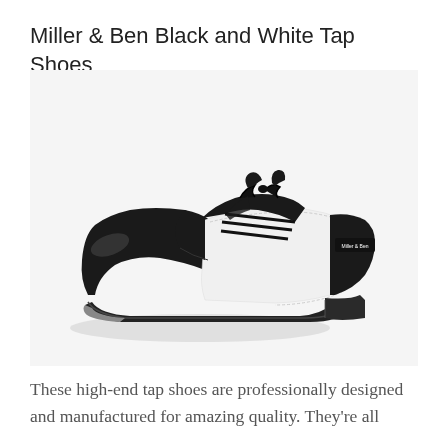Miller & Ben Black and White Tap Shoes
[Figure (photo): A black and white tap shoe (wingtip style) photographed against a white background. The shoe features a glossy black toe cap and heel with a white leather upper panel. Black laces are tied at the top. A small 'Miller & Ben' label is visible on the side. The sole has a tap plate visible.]
These high-end tap shoes are professionally designed and manufactured for amazing quality. They're all